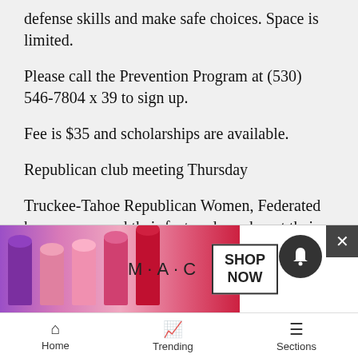defense skills and make safe choices. Space is limited.
Please call the Prevention Program at (530) 546-7804 x 39 to sign up.
Fee is $35 and scholarships are available.
Republican club meeting Thursday
Truckee-Tahoe Republican Women, Federated have announced their featured speaker at their Oct. 18 meeting will be Kevin Nguyen, executive director of the American Civil Rights Coalition.
Nguyen will speak to the GOP women's group about the Racial Privacy initiative, also known as RPI. He is workin... Conne... to
[Figure (advertisement): MAC cosmetics advertisement with lipsticks and SHOP NOW button]
Home   Trending   Sections